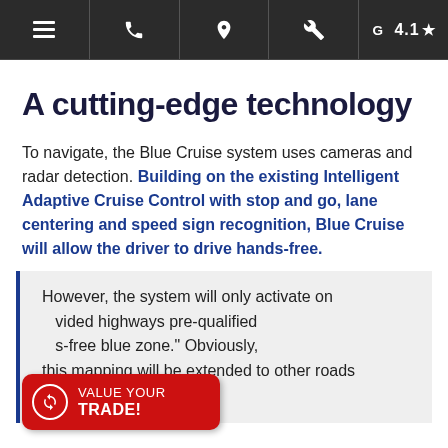Navigation bar with menu, phone, location, settings icons and G 4.1 star rating
A cutting-edge technology
To navigate, the Blue Cruise system uses cameras and radar detection. Building on the existing Intelligent Adaptive Cruise Control with stop and go, lane centering and speed sign recognition, Blue Cruise will allow the driver to drive hands-free.
However, the system will only activate on vided highways pre-qualified s-free blue zone." Obviously, this mapping will be extended to other roads over time.